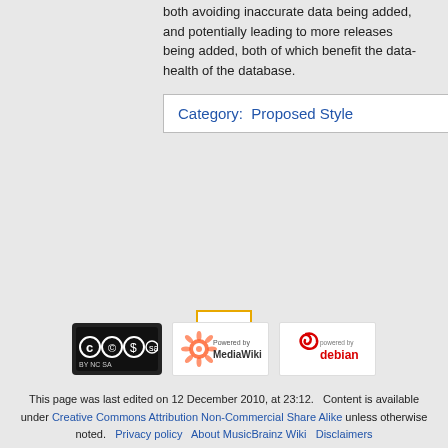both avoiding inaccurate data being added, and potentially leading to more releases being added, both of which benefit the data-health of the database.
Category:  Proposed Style
[Figure (other): Scroll-to-top button with orange border and upward triangle icon]
[Figure (logo): Creative Commons Attribution Non-Commercial Share Alike logo]
[Figure (logo): Powered by MediaWiki logo]
[Figure (logo): Powered by Debian logo]
This page was last edited on 12 December 2010, at 23:12. Content is available under Creative Commons Attribution Non-Commercial Share Alike unless otherwise noted. Privacy policy About MusicBrainz Wiki Disclaimers